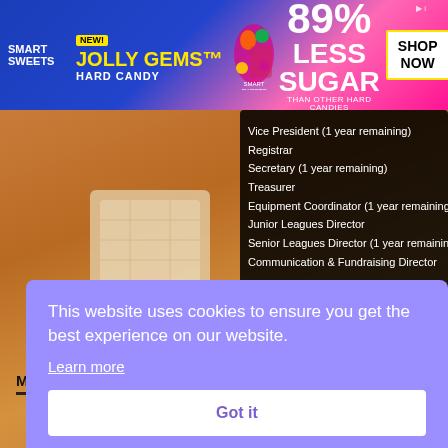[Figure (other): Smart Sweets Jolly Gems Hard Candy advertisement banner. Blue and pink gradient background with candy imagery, text reading 'NEW! JOLLY GEMS HARD CANDY', '89% LESS SUGAR THAN OTHER HARD CANDIES', 'SMART SWEETS', and 'SHOP NOW' button.]
[Figure (photo): Baseball field dirt with a white base/plate in the center. Overlaid dark semi-transparent box on the right listing board positions: Vice President (1 year remaining), Registrar, Secretary (1 year remaining), Treasurer, Equipment Coordinator (1 year remaining), Junior Leagues Director, Senior Leagues Director (1 year remaining), Communication & Fundraising Director. Website www.morinvilleminorbaseball.com shown at bottom.]
This website uses cookies to ensure you get the best experience on our website.
Learn more
Got it
META
Register
Log in
Entries feed